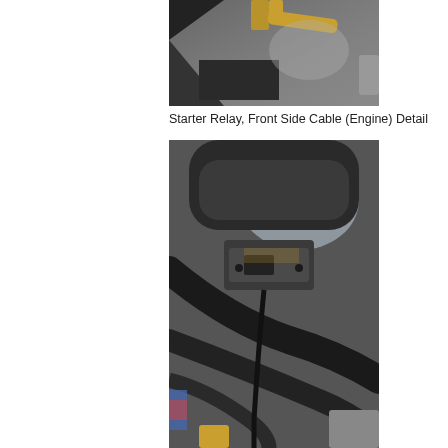[Figure (photo): Close-up photograph of a starter relay front side cable engine detail, showing brass/gold colored bolt terminals and dark metal components against a grey metal background.]
Starter Relay, Front Side Cable (Engine) Detail
[Figure (photo): Close-up photograph of an engine bay showing a black metal bracket/relay mount attached to hoses and frame members, with cables and mechanical components visible in the background.]